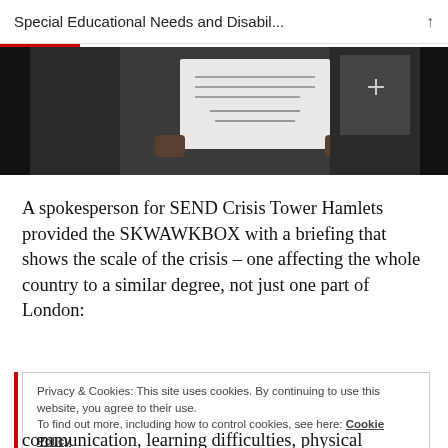Special Educational Needs and Disabil...
[Figure (photo): Dark photograph showing a person holding up a white piece of paper with text, in a dimly lit environment.]
A spokesperson for SEND Crisis Tower Hamlets provided the SKWAWKBOX with a briefing that shows the scale of the crisis – one affecting the whole country to a similar degree, not just one part of London:
Privacy & Cookies: This site uses cookies. By continuing to use this website, you agree to their use. To find out more, including how to control cookies, see here: Cookie Policy
communication, learning difficulties, physical